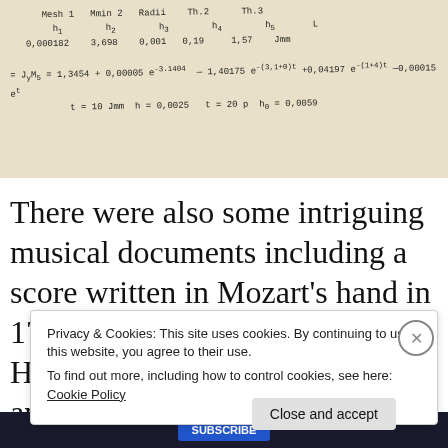[Figure (photo): Handwritten mathematical equations on paper with variables Mesh1, Mmin2, Radii, Th.2, Th.3, showing exponential formulas with parameters h1, h2, h3, h4, h5 and numerical values 0.000182, 3.698, 0.001, 0.19, 1.57, and equations involving e to the power of expressions.]
There were also some intriguing musical documents including a score written in Mozart’s hand in 1786, followed by that of Hungarian composer Franz Liszt and Debussy.
Privacy & Cookies: This site uses cookies. By continuing to use this website, you agree to their use.
To find out more, including how to control cookies, see here:
Cookie Policy
Close and accept